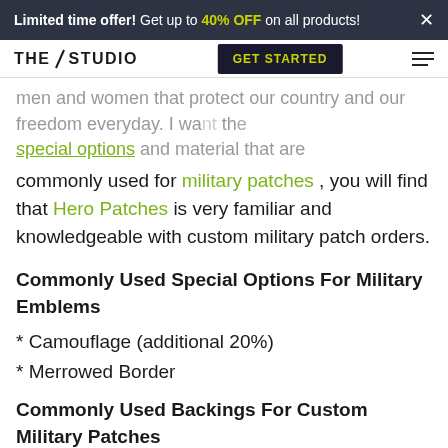Limited time offer! Get up to 40% OFF on all products! ×
THE STUDIO  GET STARTED
men and women that protect our country and our freedom everyday. I want the special options and material that are commonly used for military patches , you will find that Hero Patches is very familiar and knowledgeable with custom military patch orders.
Commonly Used Special Options For Military Emblems
* Camouflage (additional 20%)
* Merrowed Border
Commonly Used Backings For Custom Military Patches